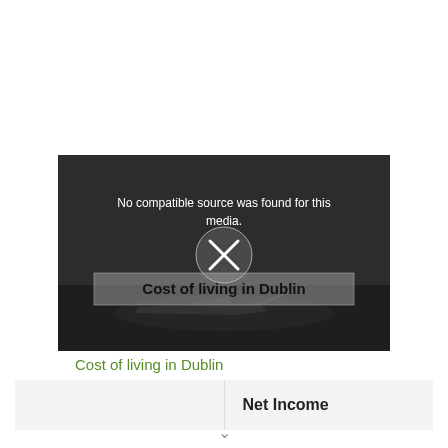[Figure (screenshot): Video player screenshot showing error message 'No compatible source was found for this media.' with a close/X button overlay and text 'Cost of living in Dublin' displayed over a dark background with airplane silhouette]
Cost of living in Dublin
|  | Net Income |
| --- | --- |